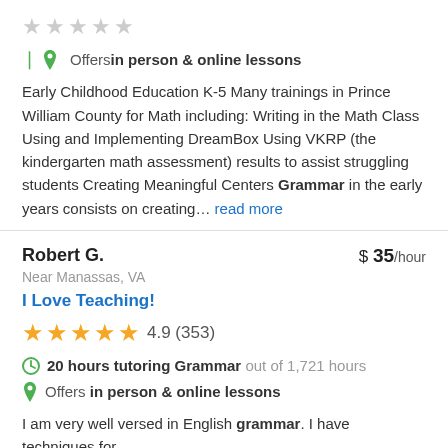[Figure (other): Five empty/grey star rating icons]
Offers in person & online lessons
Early Childhood Education K-5 Many trainings in Prince William County for Math including: Writing in the Math Class Using and Implementing DreamBox Using VKRP (the kindergarten math assessment) results to assist struggling students Creating Meaningful Centers Grammar in the early years consists on creating... read more
Robert G.
$ 35/hour
Near Manassas, VA
I Love Teaching!
[Figure (other): Five gold star rating icons showing 4.9 (353)]
20 hours tutoring Grammar out of 1,721 hours
Offers in person & online lessons
I am very well versed in English grammar. I have techniques for